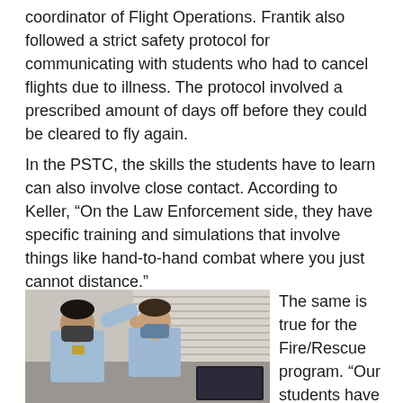coordinator of Flight Operations. Frantik also followed a strict safety protocol for communicating with students who had to cancel flights due to illness. The protocol involved a prescribed amount of days off before they could be cleared to fly again.
In the PSTC, the skills the students have to learn can also involve close contact. According to Keller, “On the Law Enforcement side, they have specific training and simulations that involve things like hand-to-hand combat where you just cannot distance.”
[Figure (photo): Two men in uniform shirts and face masks inside an office or classroom. One man appears to be touching or adjusting the other's face/mask. Venetian blinds and a computer monitor are visible in the background.]
The same is true for the Fire/Rescue program. “Our students have to be proficient in more than